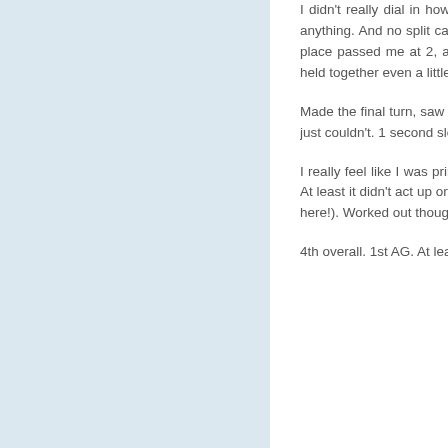I didn't really dial in how fast / slow I was going. I was just going, and couldn't "feel" anything. And no split calls at 1 or 2. Mostly, mentally, I figured I was way out of it. 3rd place passed me at 2, and I kind of packed it in from there. Really a shame. If I had held together even a little, and cranked it more on mile 3, that's a certain PR. Damn.
Made the final turn, saw the clock and was shocked. Gave what I had to get under, but just couldn't. 1 second slower than 2 weeks ago.
I really feel like I was primed for a good one today. F'in shame I got this stomach bug. At least it didn't act up on me during the race. Alli begged me not to run today (we LIVE here!). Worked out though.
4th overall. 1st AG. At least I got